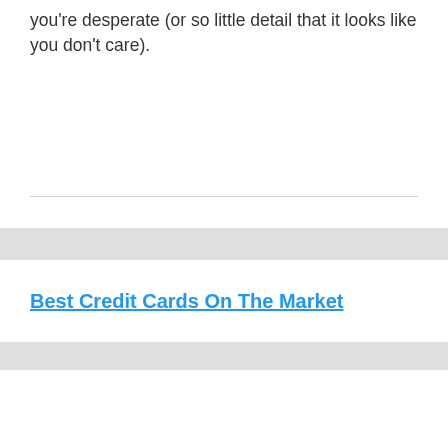you're desperate (or so little detail that it looks like you don't care).
Best Credit Cards On The Market